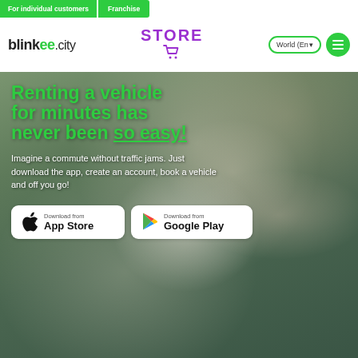For individual customers | Franchise
blinkee.city | STORE | World (Eng ▾) | ☰
[Figure (photo): Hero background photo showing a man in a white helmet riding a white electric scooter next to a woman on a scooter, in a European city setting]
Renting a vehicle for minutes has never been so easy!
Imagine a commute without traffic jams. Just download the app, create an account, book a vehicle and off you go!
Download from App Store
Download from Google Play